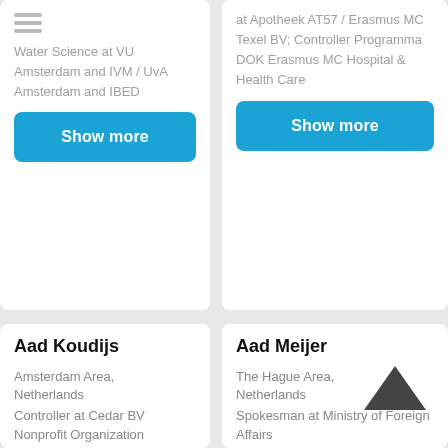[Figure (other): Menu/hamburger icon with three horizontal lines]
Water Science at VU Amsterdam and IVM / UvA Amsterdam and IBED
Show more
at Apotheek AT57 / Erasmus MC Texel BV; Controller Programma DOK Erasmus MC Hospital & Health Care
Show more
Aad Koudijs
Amsterdam Area, Netherlands
Controller at Cedar BV
Nonprofit Organization
Aad Meijer
The Hague Area, Netherlands
Spokesman at Ministry of Foreign Affairs
[Figure (other): Chevron/caret up arrow icon in dark grey]